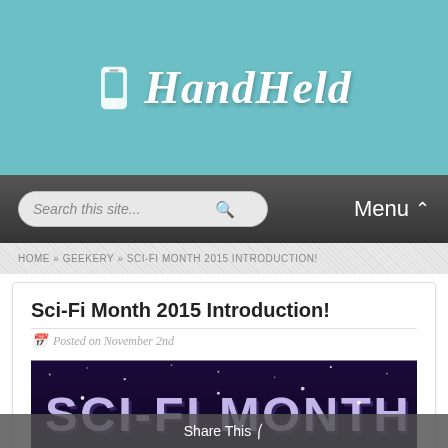HandHeld
Search this site...
Menu
HOME » GEEKERY » SCI-FI MONTH 2015 INTRODUCTION!
Sci-Fi Month 2015 Introduction!
Posted on November 2nd
[Figure (illustration): Sci-Fi Month banner with large stylized text reading 'SCI-FI MONTH' on a dark purple/space background]
Welcome to Sci-Fi Month 2015!
It's my first time participating & I'm really excited for the month ahead. I might not read a ton of new works (I'm stepping up work on editing my novel this month for Nanowrimo) but I can't wait to dig in to the Sci-fi portion of my TBR. Without further
Share This